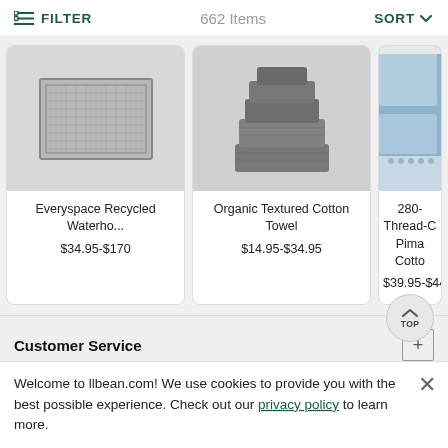FILTER   662 Items   SORT
[Figure (photo): Everyspace Recycled Waterho... product image - a gray rectangular mat with grid texture]
Everyspace Recycled Waterho...
$34.95-$170
[Figure (photo): Organic Textured Cotton Towel product image - folded gray towels stacked]
Organic Textured Cotton Towel
$14.95-$34.95
[Figure (photo): 280-Thread-C Pima Cotto... product image - blue pillowcases on a bed]
280-Thread-C Pima Cotto
$39.95-$44
Customer Service
Welcome to llbean.com! We use cookies to provide you with the best possible experience. Check out our privacy policy to learn more.